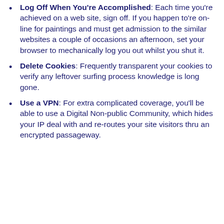Log Off When You're Accomplished: Each time you're achieved on a web site, sign off. If you happen to're on-line for paintings and must get admission to the similar websites a couple of occasions an afternoon, set your browser to mechanically log you out whilst you shut it.
Delete Cookies: Frequently transparent your cookies to verify any leftover surfing process knowledge is long gone.
Use a VPN: For extra complicated coverage, you'll be able to use a Digital Non-public Community, which hides your IP deal with and re-routes your site visitors thru an encrypted passageway.